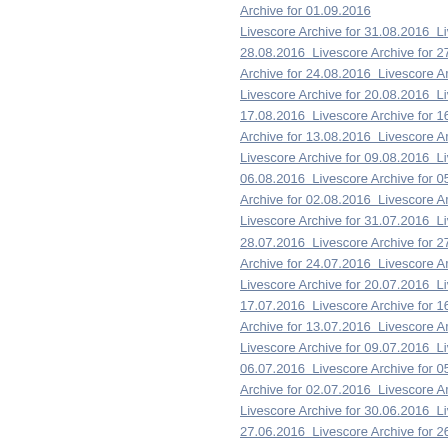Archive for 01.09.2016  Livescore Archive for 31.08.2016  Livescore 28.08.2016  Livescore Archive for 27.08.2016  Archive for 24.08.2016  Livescore Archive fo  Livescore Archive for 20.08.2016  Livescore 17.08.2016  Livescore Archive for 16.08.2016  Archive for 13.08.2016  Livescore Archive fo  Livescore Archive for 09.08.2016  Livescore 06.08.2016  Livescore Archive for 05.08.2016  Archive for 02.08.2016  Livescore Archive for  Livescore Archive for 31.07.2016  Livescore 28.07.2016  Livescore Archive for 27.07.2016  Archive for 24.07.2016  Livescore Archive fo  Livescore Archive for 20.07.2016  Livescore 17.07.2016  Livescore Archive for 16.07.2016  Archive for 13.07.2016  Livescore Archive fo  Livescore Archive for 09.07.2016  Livescore 06.07.2016  Livescore Archive for 05.07.2016  Archive for 02.07.2016  Livescore Archive for  Livescore Archive for 30.06.2016  Livescore 27.06.2016  Livescore Archive for 26.06.2016  Archive for 23.06.2016  Livescore Archive fo  Livescore Archive for 19.06.2016  Livescore 16.06.2016  Livescore Archive for 15.06.2016  Archive for 12.06.2016  Livescore Archive fo